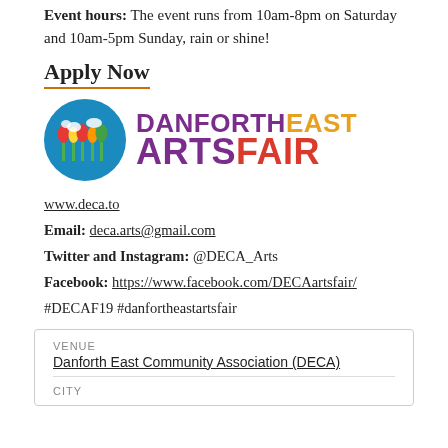Event hours: The event runs from 10am-8pm on Saturday and 10am-5pm Sunday, rain or shine!
Apply Now
[Figure (logo): Danforth East Arts Fair logo with colorful circular icon and bold text: DANFORTH EAST ARTS FAIR]
www.deca.to
Email: deca.arts@gmail.com
Twitter and Instagram: @DECA_Arts
Facebook: https://www.facebook.com/DECAartsfair/
#DECAF19 #danfortheastartsfair
| VENUE | CITY |
| --- | --- |
| Danforth East Community Association (DECA) |  |